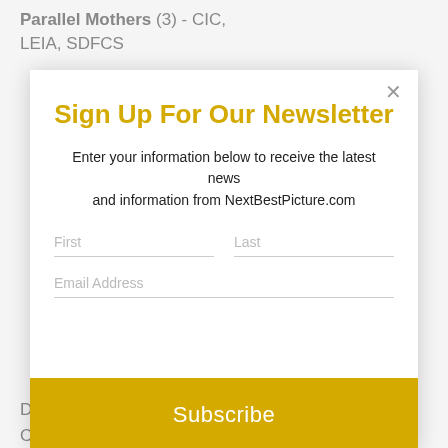Parallel Mothers (3) - CIC, LEIA, SDFCS
Sign Up For Our Newsletter
Enter your information below to receive the latest news and information from NextBestPicture.com
First
Last
Email Address
Subscribe
DFCS, DFCS, DFWFCA, FFCC, CFCA, CWNYCA, HCA, HFCS